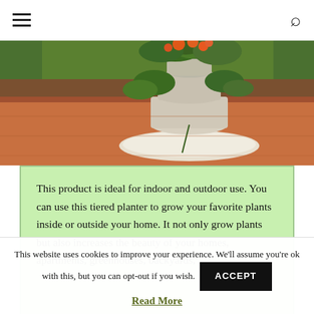Navigation header with hamburger menu and search icon
[Figure (photo): A tiered ceramic planter with orange flowers (impatiens) and green foliage sitting on a red brick/terracotta surface with grass in the background.]
This product is ideal for indoor and outdoor use. You can use this tiered planter to grow your favorite plants inside or outside your home. It not only grow plants but also increases the beauty of your homes, apartments, greenhouses, backyards,
This website uses cookies to improve your experience. We'll assume you're ok with this, but you can opt-out if you wish.
ACCEPT
Read More